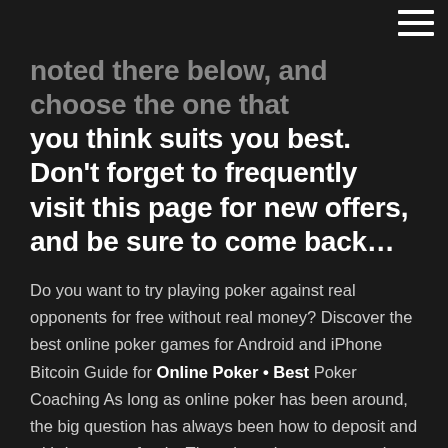noted there below, and choose the one you think suits you best. Don't forget to frequently visit this page for new offers, and be sure to come back…
Do you want to try playing poker against real opponents for free without real money? Discover the best online poker games for Android and iPhone Bitcoin Guide for Online Poker • Best Poker Coaching As long as online poker has been around, the big question has always been how to deposit and withdraw your funds. There have been many options throughout the years that have come and gone but Bitcoin has been by far the most intriguing. Free Poker Download Mac - Free Triple Diamond Casino Slots Free Poker Download Mac; Prestige Casino Review free poker download mac Prestige is a nanaimo poker run 2018 word